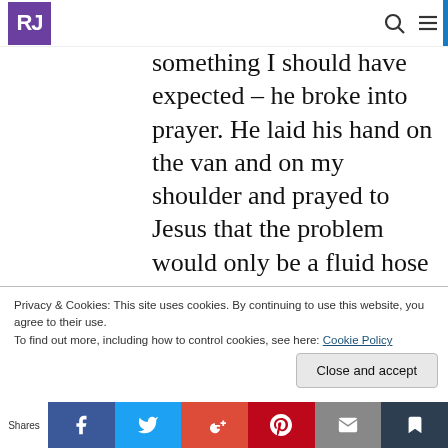RJ [logo] [search icon] [menu icon]
tried to laugh – but I was simmering about the van. Then the toothless tow driver did something I should have expected – he broke into prayer.  He laid his hand on the van and on my shoulder and prayed to Jesus that the problem would only be a fluid hose issue and that I would be on my way to Denver soon.  He said amen, shook my hand, told me “God bless” and drove away.  I’d like to say that it was just a hose problem – it wasn’t.  But I can say that we did make it
Privacy & Cookies: This site uses cookies. By continuing to use this website, you agree to their use.
To find out more, including how to control cookies, see here: Cookie Policy
Shares [Facebook] [Twitter] [Google+] [Pinterest] [Email] [Print]